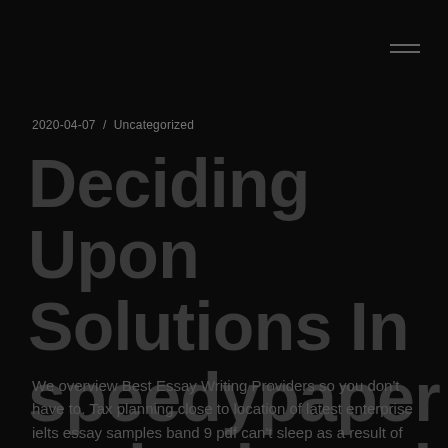2020-04-07 / Uncategorized
Deciding Upon Solutions In speedypaper reviewingwriting
We overview Best Essay Writing Providers so you don't have to. Tax planning close to location of latest enterprise ielts essay samples band 9 pdf can't sleep as a result of